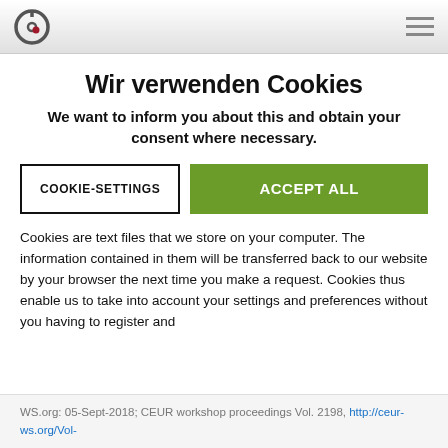CEUR-WS logo and navigation menu
Wir verwenden Cookies
We want to inform you about this and obtain your consent where necessary.
COOKIE-SETTINGS | ACCEPT ALL
Cookies are text files that we store on your computer. The information contained in them will be transferred back to our website by your browser the next time you make a request. Cookies thus enable us to take into account your settings and preferences without you having to register and
WS.org: 05-Sept-2018; CEUR workshop proceedings Vol. 2198, http://ceur-ws.org/Vol-